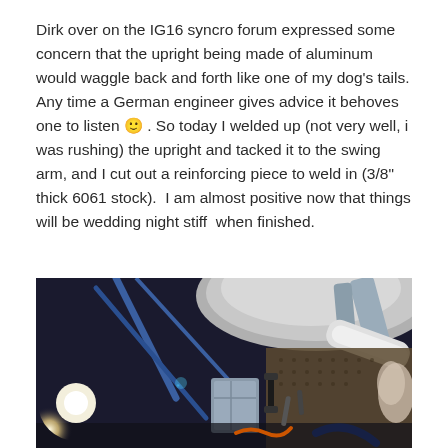Dirk over on the IG16 syncro forum expressed some concern that the upright being made of aluminum would waggle back and forth like one of my dog's tails. Any time a German engineer gives advice it behoves one to listen 🙂 . So today I welded up (not very well, i was rushing) the upright and tacked it to the swing arm, and I cut out a reinforcing piece to weld in (3/8" thick 6061 stock).  I am almost positive now that things will be wedding night stiff  when finished.
[Figure (photo): Photograph of a workshop/garage interior showing metal fabrication work. A bright work light is visible on the left, with blue metal frame structure, various tools hanging on a pegboard wall in the background, clamps and hoses, and a large metallic dome-shaped piece at the top center-right.]